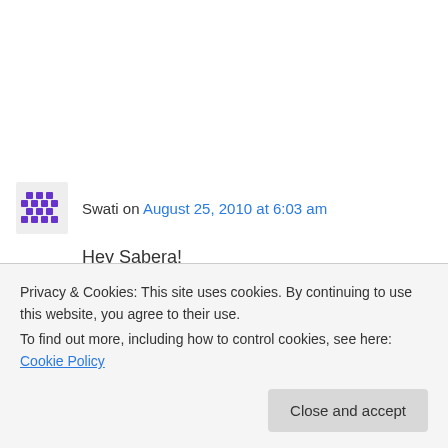Swati on August 25, 2010 at 6:03 am
Hey Sabera!
I keep reading your blog off & on when I Google the net for recipes…I made the choley as per your recipe, but with less oil (3 tsp instead of tbsp) & a small variation – i used ajwain in the
Privacy & Cookies: This site uses cookies. By continuing to use this website, you agree to their use.
To find out more, including how to control cookies, see here: Cookie Policy
Close and accept